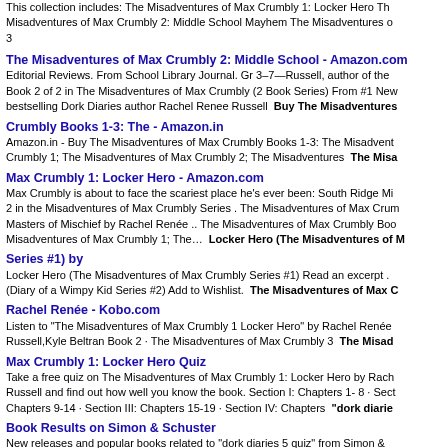This collection includes: The Misadventures of Max Crumbly 1: Locker Hero The Misadventures of Max Crumbly 2: Middle School Mayhem The Misadventures of Max Crumbly 3
The Misadventures of Max Crumbly 2: Middle School - Amazon.com
Editorial Reviews. From School Library Journal. Gr 3–7—Russell, author of the Book 2 of 2 in The Misadventures of Max Crumbly (2 Book Series) From #1 New bestselling Dork Diaries author Rachel Renee Russell  Buy The Misadventures of Max Crumbly Books 1-3: The - Amazon.in
Crumbly Books 1-3: The - Amazon.in
Amazon.in - Buy The Misadventures of Max Crumbly Books 1-3: The Misadventures of Max Crumbly 1; The Misadventures of Max Crumbly 2; The Misadventures  The Misadventures of Max Crumbly 1: Locker Hero - Amazon.com
Max Crumbly 1: Locker Hero - Amazon.com
Max Crumbly is about to face the scariest place he's ever been: South Ridge Mi 2 in the Misadventures of Max Crumbly Series . The Misadventures of Max Crumbly: Masters of Mischief by Rachel Renée .. The Misadventures of Max Crumbly Books: Misadventures of Max Crumbly 1; The…  Locker Hero (The Misadventures of Max Crumbly Series #1) by
Series #1) by
Locker Hero (The Misadventures of Max Crumbly Series #1) Read an excerpt . (Diary of a Wimpy Kid Series #2) Add to Wishlist.  The Misadventures of Max Crumbly: Rachel Renée - Kobo.com
Rachel Renée - Kobo.com
Listen to "The Misadventures of Max Crumbly 1 Locker Hero" by Rachel Renée Russell,Kyle Beltran Book 2 · The Misadventures of Max Crumbly 3  The Misad
Max Crumbly 1: Locker Hero Quiz
Take a free quiz on The Misadventures of Max Crumbly 1: Locker Hero by Rachel Russell and find out how well you know the book. Section I: Chapters 1- 8 · Section II: Chapters 9-14 · Section III: Chapters 15-19 · Section IV: Chapters  "dork diaries
Book Results on Simon & Schuster
New releases and popular books related to "dork diaries 5 quiz" from Simon &